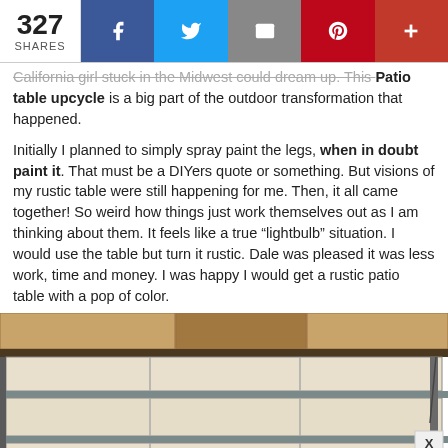327 SHARES | Facebook | Twitter | Email | Pinterest | More
California girl stuck in the Midwest could dream up. This Patio table upcycle is a big part of the outdoor transformation that happened.
Initially I planned to simply spray paint the legs, when in doubt paint it. That must be a DIYers quote or something. But visions of my rustic table were still happening for me. Then, it all came together! So weird how things just work themselves out as I am thinking about them. It feels like a true “lightbulb” situation. I would use the table but turn it rustic. Dale was pleased it was less work, time and money. I was happy I would get a rustic patio table with a pop of color.
[Figure (photo): Garage interior showing a cream/beige garage door with metal rails and framing, viewed from inside the garage. Wood paneling visible at the top.]
[Figure (other): CVS Health & Wellness Products advertisement banner with CVS pharmacy logo and navigation arrow icon.]